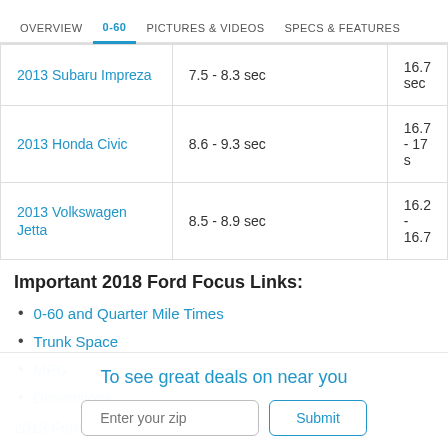OVERVIEW | 0-60 | PICTURES & VIDEOS | SPECS & FEATURES
| Car | 0-60 | Quarter Mile |
| --- | --- | --- |
| 2013 Subaru Impreza | 7.5 - 8.3 sec | 16.7 sec |
| 2013 Honda Civic | 8.6 - 9.3 sec | 16.7 - 17 s |
| 2013 Volkswagen Jetta | 8.5 - 8.9 sec | 16.2 - 16.7 |
Important 2018 Ford Focus Links:
0-60 and Quarter Mile Times
Trunk Space
MPG
Dimensions
2013 Ford Focus 0-60 and Quarter Mile all Trims
To see great deals on near you